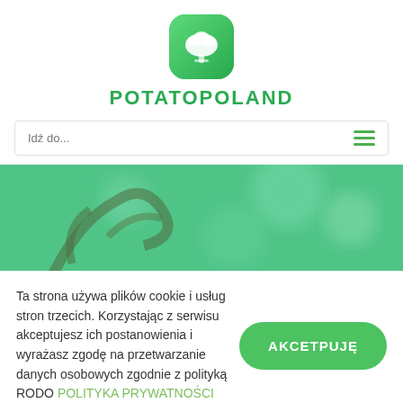[Figure (logo): PotatoPoland logo: green rounded square icon with white potato/tree graphic, and text POTATOPOLAND in green uppercase letters below]
[Figure (infographic): Navigation bar with 'Idź do...' text on left and green hamburger menu icon on right, inside a bordered rounded rectangle]
[Figure (photo): Hero banner image showing a green-tinted blurred photo of tree branches and bokeh circles]
Ta strona używa plików cookie i usług stron trzecich. Korzystając z serwisu akceptujesz ich postanowienia i wyrażasz zgodę na przetwarzanie danych osobowych zgodnie z polityką RODO POLITYKA PRYWATNOŚCI
[Figure (other): Green rounded button with white text AKCETPUJĘ]